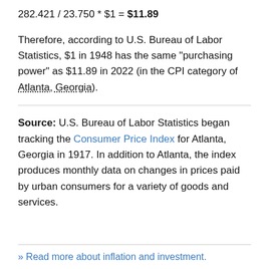282.421 / 23.750 * $1 = $11.89
Therefore, according to U.S. Bureau of Labor Statistics, $1 in 1948 has the same "purchasing power" as $11.89 in 2022 (in the CPI category of Atlanta, Georgia).
Source: U.S. Bureau of Labor Statistics began tracking the Consumer Price Index for Atlanta, Georgia in 1917. In addition to Atlanta, the index produces monthly data on changes in prices paid by urban consumers for a variety of goods and services.
» Read more about inflation and investment.